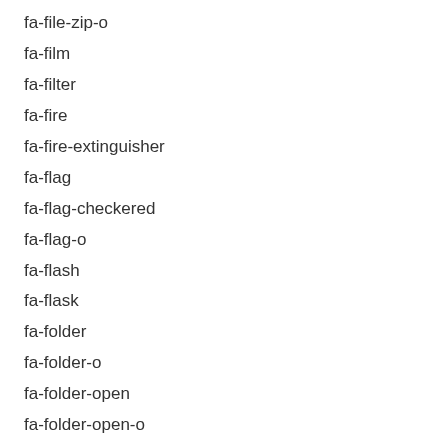fa-file-zip-o
fa-film
fa-filter
fa-fire
fa-fire-extinguisher
fa-flag
fa-flag-checkered
fa-flag-o
fa-flash
fa-flask
fa-folder
fa-folder-o
fa-folder-open
fa-folder-open-o
fa-frown-o
fa-futbol-o
fa-gamepad